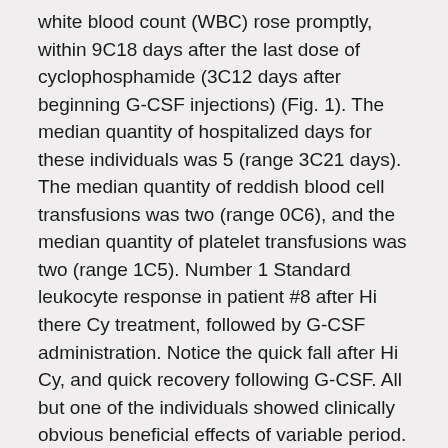white blood count (WBC) rose promptly, within 9C18 days after the last dose of cyclophosphamide (3C12 days after beginning G-CSF injections) (Fig. 1). The median quantity of hospitalized days for these individuals was 5 (range 3C21 days). The median quantity of reddish blood cell transfusions was two (range 0C6), and the median quantity of platelet transfusions was two (range 1C5). Number 1 Standard leukocyte response in patient #8 after Hi there Cy treatment, followed by G-CSF administration. Notice the quick fall after Hi Cy, and quick recovery following G-CSF. All but one of the individuals showed clinically obvious beneficial effects of variable period. Improvement began within 3